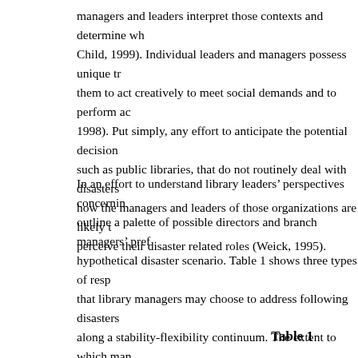managers and leaders interpret those contexts and determine wh... Child, 1999). Individual leaders and managers possess unique tr... them to act creatively to meet social demands and to perform ac... 1998). Put simply, any effort to anticipate the potential decision... such as public libraries, that do not routinely deal with disasters... how the managers and leaders of those organizations are likely t... perceive their disaster related roles (Weick, 1995).
In an effort to understand library leaders' perspectives concernin... outline a palette of possible directors and branch managers' pref... hypothetical disaster scenario. Table 1 shows three types of resp... that library managers may choose to address following disasters... along a stability-flexibility continuum. The extent to which man... familiar norms and routines to fit events into pre-existing frame... resources to manage emerging needs will reflect their underlyin... organizations' appropriate roles in disaster response.
Table 1